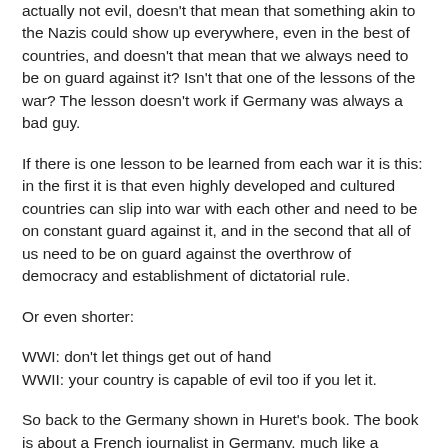actually not evil, doesn't that mean that something akin to the Nazis could show up everywhere, even in the best of countries, and doesn't that mean that we always need to be on guard against it? Isn't that one of the lessons of the war? The lesson doesn't work if Germany was always a bad guy.
If there is one lesson to be learned from each war it is this: in the first it is that even highly developed and cultured countries can slip into war with each other and need to be on constant guard against it, and in the second that all of us need to be on guard against the overthrow of democracy and establishment of dictatorial rule.
Or even shorter:
WWI: don't let things get out of hand
WWII: your country is capable of evil too if you let it.
So back to the Germany shown in Huret's book. The book is about a French journalist in Germany, much like a French journalist in Germany today. He rages against the French embassy's shoddy furniture, dislikes wine served with ice,